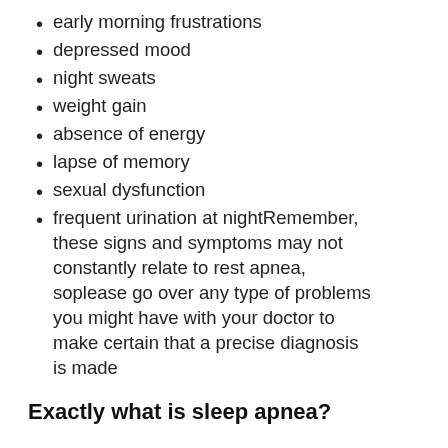early morning frustrations
depressed mood
night sweats
weight gain
absence of energy
lapse of memory
sexual dysfunction
frequent urination at nightRemember, these signs and symptoms may not constantly relate to rest apnea, soplease go over any type of problems you might have with your doctor to make certain that a precise diagnosis is made
Exactly what is sleep apnea?